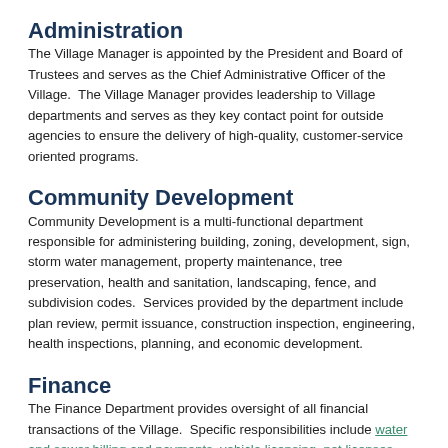Administration
The Village Manager is appointed by the President and Board of Trustees and serves as the Chief Administrative Officer of the Village.  The Village Manager provides leadership to Village departments and serves as they key contact point for outside agencies to ensure the delivery of high-quality, customer-service oriented programs.
Community Development
Community Development is a multi-functional department responsible for administering building, zoning, development, sign, storm water management, property maintenance, tree preservation, health and sanitation, landscaping, fence, and subdivision codes.  Services provided by the department include plan review, permit issuance, construction inspection, engineering, health inspections, planning, and economic development.
Finance
The Finance Department provides oversight of all financial transactions of the Village.  Specific responsibilities include water and sewer billing and payments, vehicle licensing, pet licenses, accounts payable, business licenses, payroll, purchasing, and budget management.  View financial reports